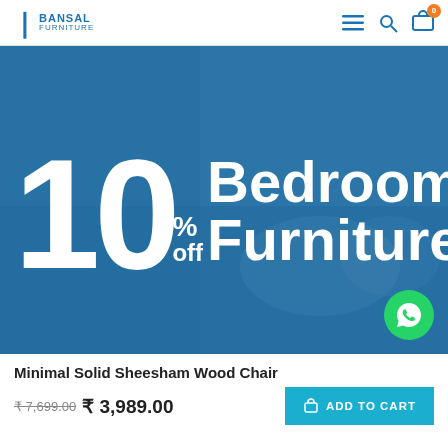BANSAL FURNITURE
[Figure (infographic): Promotional banner with bedroom background in blue tones showing '10% off Bedroom Furniture' text overlay with WhatsApp icon button]
Minimal Solid Sheesham Wood Chair
₹ 7,699.00 ₹ 3,989.00 ADD TO CART